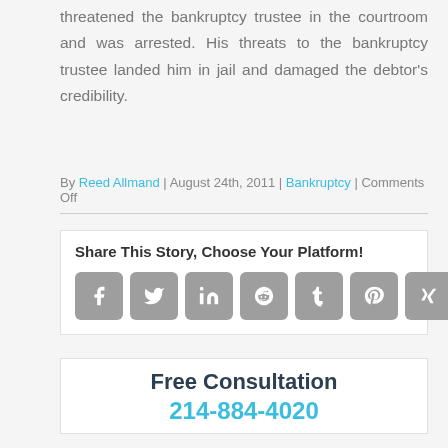threatened the bankruptcy trustee in the courtroom and was arrested. His threats to the bankruptcy trustee landed him in jail and damaged the debtor's credibility.
By Reed Allmand | August 24th, 2011 | Bankruptcy | Comments Off
Share This Story, Choose Your Platform!
[Figure (infographic): Row of 8 social sharing icon buttons: Facebook, Twitter, LinkedIn, Reddit, Tumblr, Pinterest, XING, Email. All icons are white on gray rounded square backgrounds.]
Free Consultation
214-884-4020